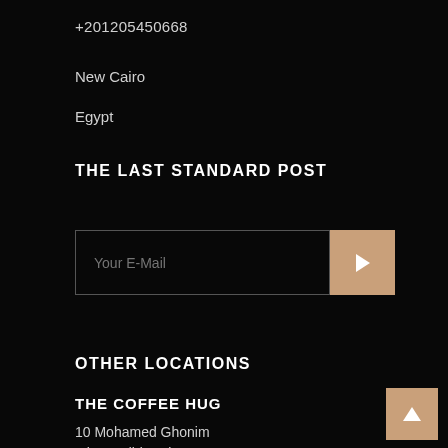+201205450668
New Cairo
Egypt
THE LAST STANDARD POST
Your E-Mail
OTHER LOCATIONS
THE COFFEE HUG
10 Mohamed Ghonim
Misr Gadid, Cairo
NGDC